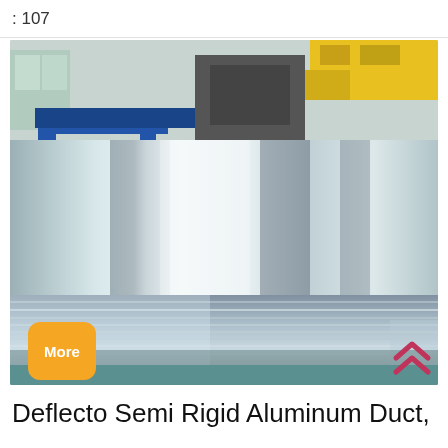: 107
[Figure (photo): Industrial photo of shiny aluminum sheets/plates stacked and wrapped in plastic, inside a factory with blue steel frame machinery visible in the background. A 'More' yellow button overlay is visible at bottom left of the image.]
Deflecto Semi Rigid Aluminum Duct,